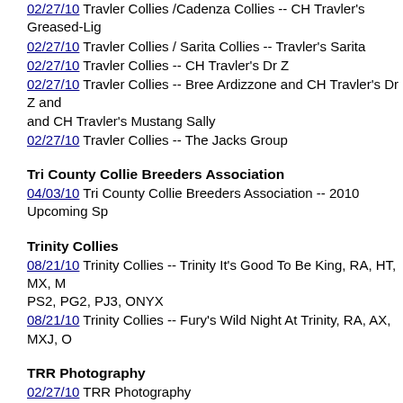02/27/10 Travler Collies /Cadenza Collies -- CH Travler's Greased-Lig
02/27/10 Travler Collies / Sarita Collies -- Travler's Sarita
02/27/10 Travler Collies -- CH Travler's Dr Z
02/27/10 Travler Collies -- Bree Ardizzone and CH Travler's Dr Z and and CH Travler's Mustang Sally
02/27/10 Travler Collies -- The Jacks Group
Tri County Collie Breeders Association
04/03/10 Tri County Collie Breeders Association -- 2010 Upcoming Sp
Trinity Collies
08/21/10 Trinity Collies -- Trinity It's Good To Be King, RA, HT, MX, M PS2, PG2, PJ3, ONYX
08/21/10 Trinity Collies -- Fury's Wild Night At Trinity, RA, AX, MXJ, O
TRR Photography
02/27/10 TRR Photography
Twiford, Glen
05/01/10 Happy 91st Birthday, Glen Twiford
Twilight Collies